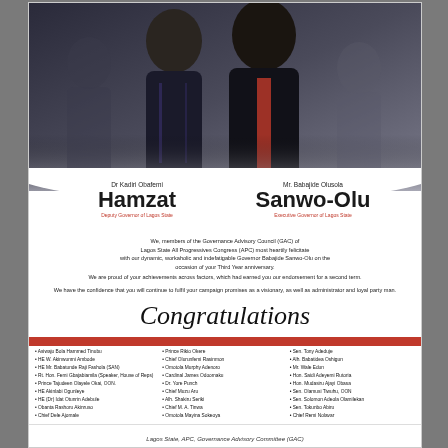[Figure (photo): Two men in suits posing together — one in a dark striped suit with purple tie, one in dark suit with red tie. Political campaign/congratulatory advertisement image.]
Dr Kadiri Obafemi Hamzat / Mr. Babajide Olusola Sanwo-Olu
We, members of the Governance Advisory Council (GAC) of Lagos State All Progressives Congress (APC) most heartily felicitate with our dynamic, workaholic and indefatigable Governor Babajide Sanwo-Olu on the occasion of your Third Year anniversary.
We are proud of your achievements across factors, which had earned you our endorsement for a second term.
We have the confidence that you will continue to fulfil your campaign promises as a visionary, as well as administrator and loyal party man.
Congratulations
GOVERNANCE ADVISORY COUNCIL, GAC
Asiwaju Bola Hammed Tinubu
HE W. Akinwunmi Ambode
HE Mr. Babatunde Raji Fashola (SAN)
Rt. Hon. Femi Gbajabiamila (Speaker, House of Reps)
Prince Tajudeen Olayele Okai, OON.
HE Akinlabi Ogunleye
HE (Dr) Idat Otunrin Adebule
Obanta Rashoru Akinruso
Chief Dele Ajomale
Prince Rikio Okere
Chief Olurunfemi Rasinmon
Omotola Murphy Adenoro
Cardinal James Odoomaku
Dr. Yore Punch
Chief Muzu Aru
Alh. Shakiru Seriki
Chief M. A. Tinwa
Omotola Mayina Sokeoya
Sen. Tony Adeduje
Alh. Babatidea Oshigun
Mr. Wale Edun
Hon. Saidi Adeyemi Rutoria
Hon. Mudasiru Ajayi Obasa
Sen. Olamusi Tiwuhu, OON
Sen. Solomon Adeola Olamilekan
Sen. Tokunbo Abiru
Chief Remi Nolavar
Lagos State, APC, Governance Advisory Committee (GAC)